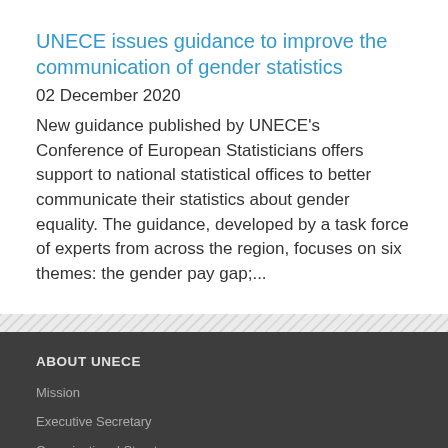UNECE issues guidance to improve the communication of gender statistics
02 December 2020
New guidance published by UNECE's Conference of European Statisticians offers support to national statistical offices to better communicate their statistics about gender equality. The guidance, developed by a task force of experts from across the region, focuses on six themes: the gender pay gap;...
ABOUT UNECE
Mission
Executive Secretary
Organizational Structure
OPPORTUNITIES